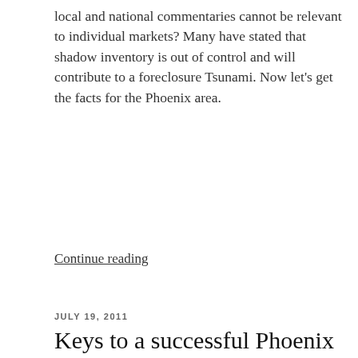local and national commentaries cannot be relevant to individual markets?  Many have stated that shadow inventory is out of control and will contribute to a foreclosure Tsunami.  Now let's get the facts for the Phoenix area.
Continue reading
JULY 19, 2011
Keys to a successful Phoenix short sale listing
Short sales are a major part of the Phoenix real estate landscape
[Figure (bar-chart): Partial bar chart showing Distress Sales as a Percentage of Monthly Sales During June 2011, with legend for Lender owned (red) and Pre-foreclosure (blue). Bottom of chart shows Anthem label with bars beginning.]